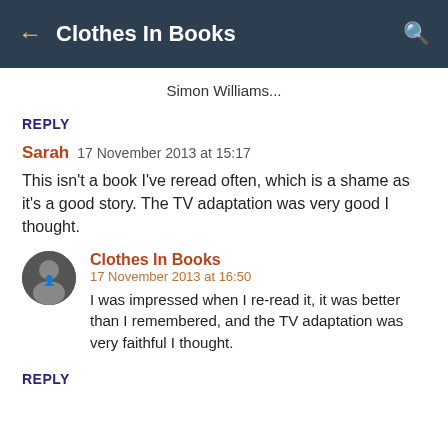← Clothes In Books 🔍
Simon Williams...
REPLY
Sarah  17 November 2013 at 15:17
This isn't a book I've reread often, which is a shame as it's a good story. The TV adaptation was very good I thought.
Clothes In Books
17 November 2013 at 16:50
I was impressed when I re-read it, it was better than I remembered, and the TV adaptation was very faithful I thought.
REPLY